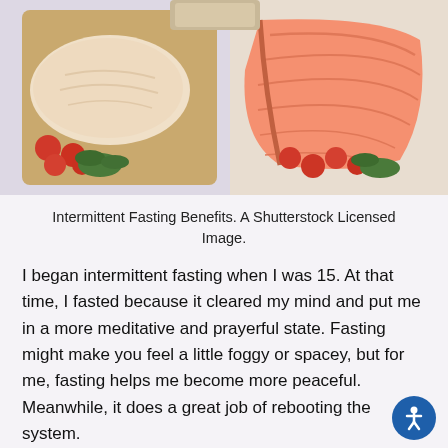[Figure (photo): Food photo showing raw chicken breast and salmon fillet on wooden cutting boards with cherry tomatoes and herbs, viewed from above on a light background. Shutterstock licensed image.]
Intermittent Fasting Benefits. A Shutterstock Licensed Image.
I began intermittent fasting when I was 15. At that time, I fasted because it cleared my mind and put me in a more meditative and prayerful state. Fasting might make you feel a little foggy or spacey, but for me, fasting helps me become more peaceful. Meanwhile, it does a great job of rebooting the system.
“All The Vitality And All The Energy I Have,